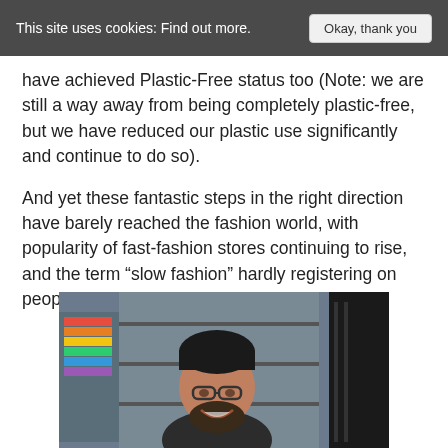This site uses cookies: Find out more.  Okay, thank you
have achieved Plastic-Free status too (Note: we are still a way away from being completely plastic-free, but we have reduced our plastic use significantly and continue to do so).
And yet these fantastic steps in the right direction have barely reached the fashion world, with popularity of fast-fashion stores continuing to rise, and the term “slow fashion” hardly registering on people’s radars.
[Figure (photo): A smiling bearded man with glasses standing inside what appears to be a shop with colorful items visible in the background.]